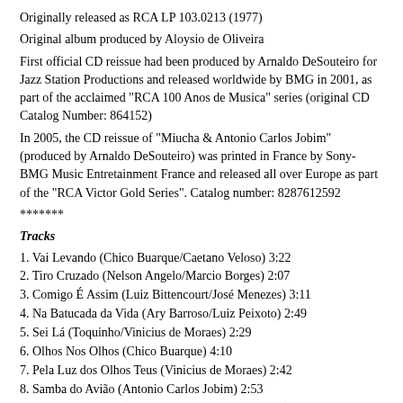Originally released as RCA LP 103.0213 (1977)
Original album produced by Aloysio de Oliveira
First official CD reissue had been produced by Arnaldo DeSouteiro for Jazz Station Productions and released worldwide by BMG in 2001, as part of the acclaimed "RCA 100 Anos de Musica" series (original CD Catalog Number: 864152)
In 2005, the CD reissue of "Miucha & Antonio Carlos Jobim" (produced by Arnaldo DeSouteiro) was printed in France by Sony-BMG Music Entretainment France and released all over Europe as part of the "RCA Victor Gold Series". Catalog number: 8287612592
*******
Tracks
1. Vai Levando (Chico Buarque/Caetano Veloso) 3:22
2. Tiro Cruzado (Nelson Angelo/Marcio Borges) 2:07
3. Comigo É Assim (Luiz Bittencourt/José Menezes) 3:11
4. Na Batucada da Vida (Ary Barroso/Luiz Peixoto) 2:49
5. Sei Lá (Toquinho/Vinicius de Moraes) 2:29
6. Olhos Nos Olhos (Chico Buarque) 4:10
7. Pela Luz dos Olhos Teus (Vinicius de Moraes) 2:42
8. Samba do Avião (Antonio Carlos Jobim) 2:53
9. Saia do Caminho (Custódio Mesquita/Evaldo Ruy) 4:07
10. Maninha (Chico Buarque) 2:40